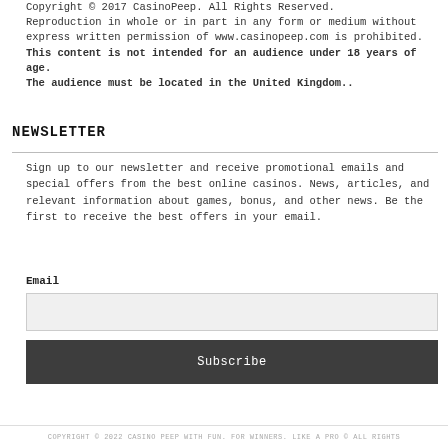Copyright © 2017 CasinoPeep. All Rights Reserved. Reproduction in whole or in part in any form or medium without express written permission of www.casinopeep.com is prohibited. This content is not intended for an audience under 18 years of age. The audience must be located in the United Kingdom..
NEWSLETTER
Sign up to our newsletter and receive promotional emails and special offers from the best online casinos. News, articles, and relevant information about games, bonus, and other news. Be the first to receive the best offers in your email.
Email
COPYRIGHT © 2022 CASINO PEEP WITH FUN. FOR WINNERS. LIKE A PRO © ALL RIGHTS